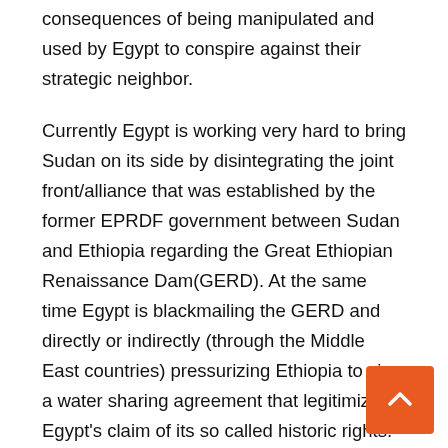consequences of being manipulated and used by Egypt to conspire against their strategic neighbor.
Currently Egypt is working very hard to bring Sudan on its side by disintegrating the joint front/alliance that was established by the former EPRDF government between Sudan and Ethiopia regarding the Great Ethiopian Renaissance Dam(GERD). At the same time Egypt is blackmailing the GERD and directly or indirectly (through the Middle East countries) pressurizing Ethiopia to sign a water sharing agreement that legitimizes Egypt's claim of its so called historic rights.
The theme of this article is to forward some ideas for the Ethiopian government that could be used for the negotiation with Egypt as illustrated below: